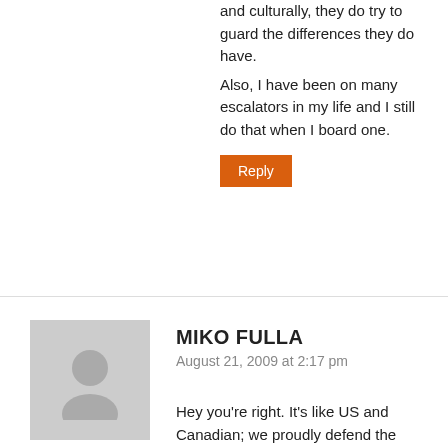and culturally, they do try to guard the differences they do have. Also, I have been on many escalators in my life and I still do that when I board one.
Reply
MIKO FULLA
August 21, 2009 at 2:17 pm
Hey you're right. It's like US and Canadian; we proudly defend the differences between our cultures. Or when I meet ESL foreigners in Perth I make sure they know I'm not Australian.
Reply
CELESTIAL FUNDY
August 31, 2009 at 4:46 pm